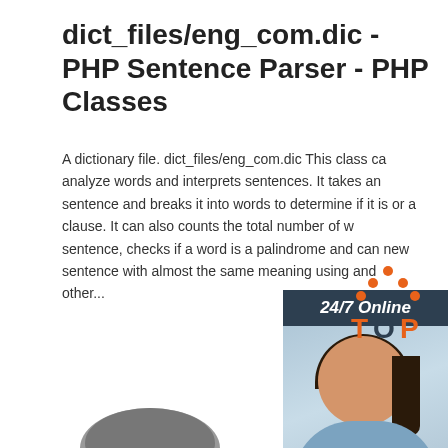dict_files/eng_com.dic - PHP Sentence Parser - PHP Classes
A dictionary file. dict_files/eng_com.dic This class can analyze words and interprets sentences. It takes an sentence and breaks it into words to determine if it is or a clause. It can also counts the total number of words in a sentence, checks if a word is a palindrome and can generate a new sentence with almost the same meaning using synonyms and other...
[Figure (photo): Advertisement banner with 24/7 Online support chat agent photo, Click here for free chat, QUOTATION button]
[Figure (logo): TOP logo with orange dots and text]
[Figure (photo): Partial image at bottom of page]